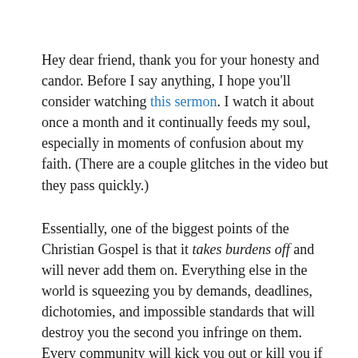Hey dear friend, thank you for your honesty and candor. Before I say anything, I hope you'll consider watching this sermon. I watch it about once a month and it continually feeds my soul, especially in moments of confusion about my faith. (There are a couple glitches in the video but they pass quickly.)
Essentially, one of the biggest points of the Christian Gospel is that it takes burdens off and will never add them on. Everything else in the world is squeezing you by demands, deadlines, dichotomies, and impossible standards that will destroy you the second you infringe on them. Every community will kick you out or kill you if you disobey their directives, and that includes Tumblr, Facebook, a high school football team, and political tribes. Every other religion and philosophy and system of